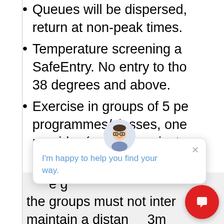Queues will be dispersed, return at non-peak times.
Temperature screening and SafeEntry. No entry to those 38 degrees and above.
Exercise in groups of 5 pe programmes/classes, one provider (such as an instru permissible
e g the groups must not inter maintain a distan 3m
No socialisation beyond a
[Figure (screenshot): Chatbot widget overlay with avatar showing a cartoon person with glasses, close button (X), and message text: 'I'm happy to help you find your way.' A red circular chat button is visible at bottom right.]